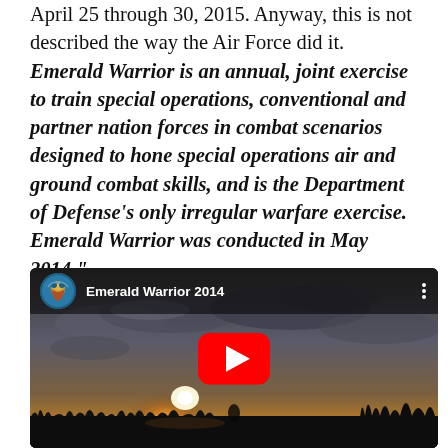April 25 through 30, 2015. Anyway, this is not described the way the Air Force did it. “Emerald Warrior is an annual, joint exercise to train special operations, conventional and partner nation forces in combat scenarios designed to hone special operations air and ground combat skills, and is the Department of Defense’s only irregular warfare exercise. Emerald Warrior was conducted in May 2014.”
[Figure (screenshot): YouTube video embed showing 'Emerald Warrior 2014' with a thumbnail of a sunset over a field with silhouetted grass/vegetation, dark cloudy sky, and a red YouTube play button in the center. The video header shows a circular avatar logo and the title 'Emerald Warrior 2014' with a three-dot menu icon.]